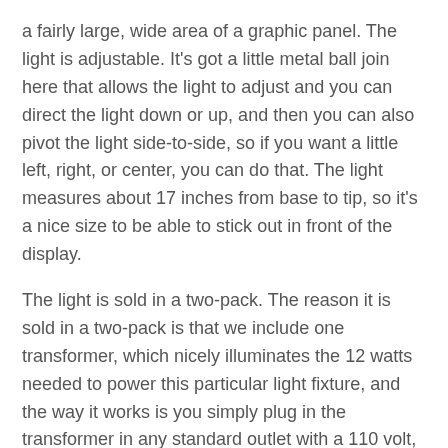a fairly large, wide area of a graphic panel. The light is adjustable. It's got a little metal ball join here that allows the light to adjust and you can direct the light down or up, and then you can also pivot the light side-to-side, so if you want a little left, right, or center, you can do that. The light measures about 17 inches from base to tip, so it's a nice size to be able to stick out in front of the display.
The light is sold in a two-pack. The reason it is sold in a two-pack is that we include one transformer, which nicely illuminates the 12 watts needed to power this particular light fixture, and the way it works is you simply plug in the transformer in any standard outlet with a 110 volt, and then the transformer plugs into the back of the light. Once you've got that going, your light is on, everything's good, but you want to go ahead and power up the other light. That's why we include a little jumper cable that simply allows you to connect into the light that already has power, and then you're simply